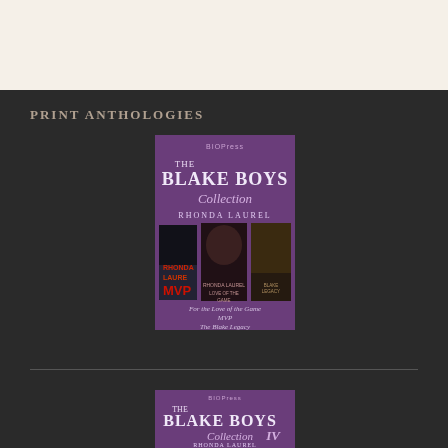PRINT ANTHOLOGIES
[Figure (illustration): Book cover for 'The Blake Boys Collection' by Rhonda Laurel, published by BioPress. Purple background with three book covers shown (For the Love of the Game, MVP, The Blake Legacy).]
[Figure (illustration): Book cover for 'The Blake Boys Collection IV' by Rhonda Laurel, published by BioPress. Purple background.]